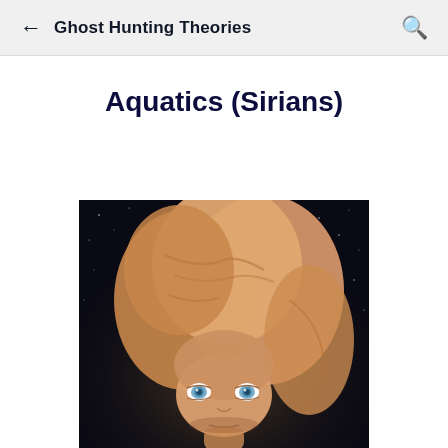Ghost Hunting Theories
Aquatics (Sirians)
[Figure (illustration): An illustration of an alien being called an Aquatic or Sirian, with a very large elongated peach/tan cranium that bulges upward and backward, a small human-like face with blue eyes, set against a dark starry space background. The head is enormously oversized compared to the facial features.]